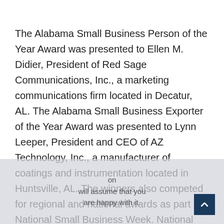The Alabama Small Business Person of the Year Award was presented to Ellen M. Didier, President of Red Sage Communications, Inc., a marketing communications firm located in Decatur, AL. The Alabama Small Business Exporter of the Year Award was presented to Lynn Leeper, President and CEO of AZ Technology, Inc., a manufacturer of coatings and instrumentation located in Huntsville, AL. The winners also competed for regional and national awards as part of National Small Business Week. National Small Business Week is June 17 – 21 this year and culminates in festivities recognizing outstanding small businesses in Washington, D.C. June 21.